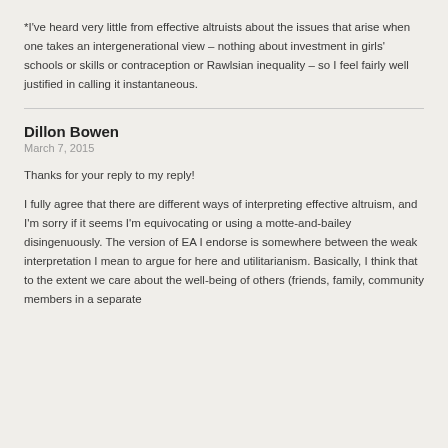*I've heard very little from effective altruists about the issues that arise when one takes an intergenerational view – nothing about investment in girls' schools or skills or contraception or Rawlsian inequality – so I feel fairly well justified in calling it instantaneous.
Dillon Bowen
March 7, 2015
Thanks for your reply to my reply!
I fully agree that there are different ways of interpreting effective altruism, and I'm sorry if it seems I'm equivocating or using a motte-and-bailey disingenuously. The version of EA I endorse is somewhere between the weak interpretation I mean to argue for here and utilitarianism. Basically, I think that to the extent we care about the well-being of others (friends, family, community members in a separate